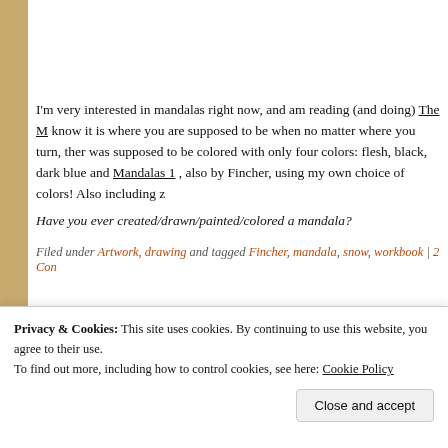I'm very interested in mandalas right now, and am reading (and doing) The M... know it is where you are supposed to be when no matter where you turn, ther... was supposed to be colored with only four colors: flesh, black, dark blue and ... Mandalas 1 , also by Fincher, using my own choice of colors! Also including z...
Have you ever created/drawn/painted/colored a mandala?
Filed under Artwork, drawing and tagged Fincher, mandala, snow, workbook | 2 Con...
[Figure (other): Partial view of a blog post thumbnail or image at the bottom of the page, with a circular logo/emblem on the left and cursive/italic text on the right, in muted tan and brown tones.]
Privacy & Cookies: This site uses cookies. By continuing to use this website, you agree to their use.
To find out more, including how to control cookies, see here: Cookie Policy
Close and accept